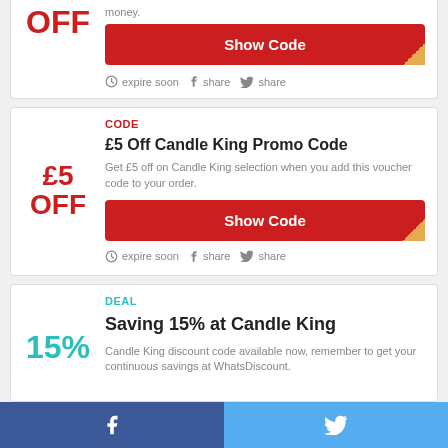[Figure (other): Partial coupon card showing OFF discount in red with Show Code button and expire soon/share links]
money.
Show Code
expire soon  share  share
Code
£5 Off Candle King Promo Code
Get £5 off on Candle King selection when you add this voucher code to your order.
Show Code
expire soon  share  share
Deal
Saving 15% at Candle King
Candle King discount code available now, remember to get your continuous savings at WhatsDiscount.
[Figure (other): Bottom social sharing bar with Facebook (blue) and Twitter (light blue) sections]